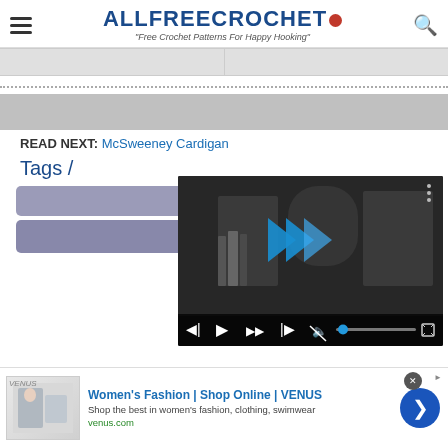ALLFREECROCHET • "Free Crochet Patterns For Happy Hooking"
READ NEXT: McSweeney Cardigan
Tags /
Easy
[Figure (screenshot): Embedded video player overlay showing a woman in a room with bookshelves, with media controls (mute, play/pause, skip, fullscreen) and a progress bar at the bottom.]
Women's Fashion | Shop Online | VENUS
Shop the best in women's fashion, clothing, swimwear
venus.com